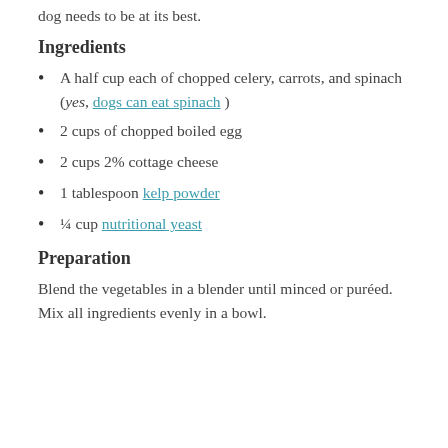dog needs to be at its best.
Ingredients
A half cup each of chopped celery, carrots, and spinach (yes, dogs can eat spinach )
2 cups of chopped boiled egg
2 cups 2% cottage cheese
1 tablespoon kelp powder
¼ cup nutritional yeast
Preparation
Blend the vegetables in a blender until minced or puréed. Mix all ingredients evenly in a bowl.